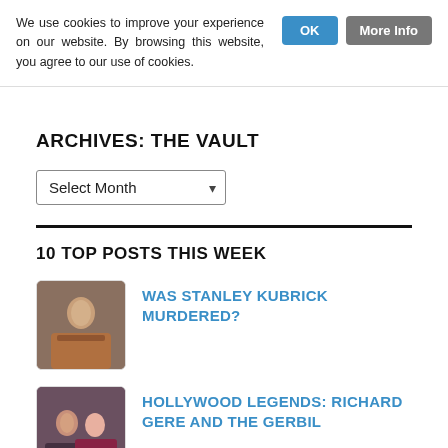We use cookies to improve your experience on our website. By browsing this website, you agree to our use of cookies.
OK
More Info
ARCHIVES: THE VAULT
Select Month
10 TOP POSTS THIS WEEK
[Figure (photo): Thumbnail image of a person, used as article preview for the Stanley Kubrick post]
WAS STANLEY KUBRICK MURDERED?
[Figure (photo): Thumbnail image of two people, used as article preview for the Hollywood Legends post]
HOLLYWOOD LEGENDS: RICHARD GERE AND THE GERBIL